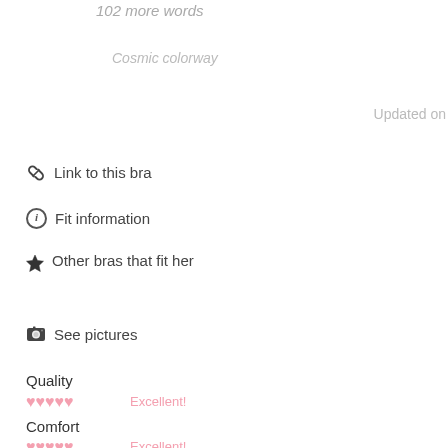102 more words
Cosmic colorway
Updated on
Link to this bra
Fit information
Other bras that fit her
See pictures
Quality
♥♥♥♥♥ Excellent!
Comfort
♥♥♥♥♥ Excellent!
Bra appearance
♥♥♥♥♥ Excellent!
http://bra.pe/XXDK/
Subscribe to updates on this entry